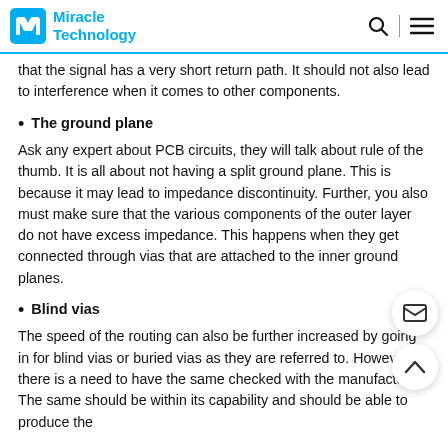Miracle Technology
that the signal has a very short return path. It should not also lead to interference when it comes to other components.
The ground plane
Ask any expert about PCB circuits, they will talk about rule of the thumb. It is all about not having a split ground plane. This is because it may lead to impedance discontinuity. Further, you also must make sure that the various components of the outer layer do not have excess impedance. This happens when they get connected through vias that are attached to the inner ground planes.
Blind vias
The speed of the routing can also be further increased by going in for blind vias or buried vias as they are referred to. However, there is a need to have the same checked with the manufacturer. The same should be within its capability and should be able to produce the